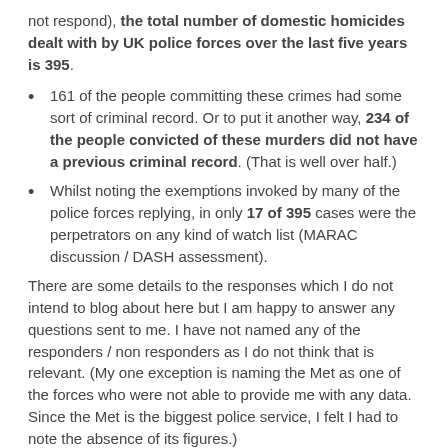not respond), the total number of domestic homicides dealt with by UK police forces over the last five years is 395.
161 of the people committing these crimes had some sort of criminal record. Or to put it another way, 234 of the people convicted of these murders did not have a previous criminal record. (That is well over half.)
Whilst noting the exemptions invoked by many of the police forces replying, in only 17 of 395 cases were the perpetrators on any kind of watch list (MARAC discussion / DASH assessment).
There are some details to the responses which I do not intend to blog about here but I am happy to answer any questions sent to me. I have not named any of the responders / non responders as I do not think that is relevant. (My one exception is naming the Met as one of the forces who were not able to provide me with any data. Since the Met is the biggest police service, I felt I had to note the absence of its figures.)